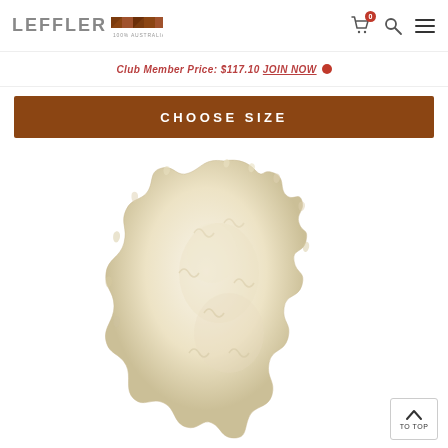LEFFLER 100% AUSTRALIAN OWNED
Club Member Price: $117.10 JOIN NOW
CHOOSE SIZE
[Figure (photo): Sheepskin rug in natural cream/off-white color, shown flat with irregular organic edges typical of a genuine sheepskin pelt.]
TO TOP